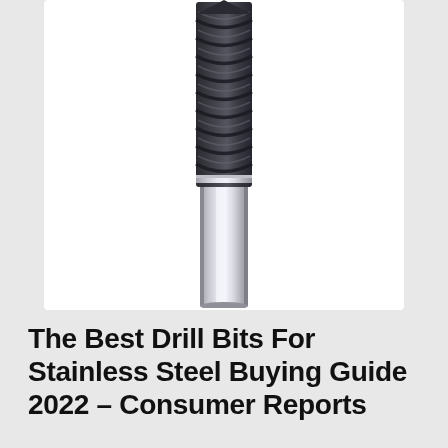[Figure (photo): A carbide end mill / drill bit with dark-coated helical flutes at the top and a polished silver cylindrical shank, photographed vertically against a white background.]
The Best Drill Bits For Stainless Steel Buying Guide 2022 – Consumer Reports